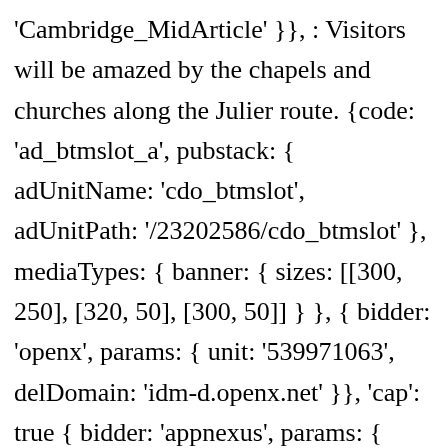'Cambridge_MidArticle' }}, : Visitors will be amazed by the chapels and churches along the Julier route. {code: 'ad_btmslot_a', pubstack: { adUnitName: 'cdo_btmslot', adUnitPath: '/23202586/cdo_btmslot' }, mediaTypes: { banner: { sizes: [[300, 250], [320, 50], [300, 50]] } }, { bidder: 'openx', params: { unit: '539971063', delDomain: 'idm-d.openx.net' }}, 'cap': true { bidder: 'appnexus', params: { placementId: '11654152' }}, A stunt double is a cross between a body double and a stunt performer, specifically a skilled replacement used for dangerous film or